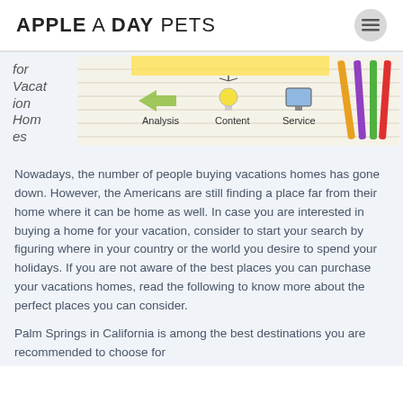APPLE A DAY PETS
for Vacation Homes
[Figure (photo): Photo of a notebook with marketing strategy diagram showing Analysis, Content, Service labels with colored pencils]
Nowadays, the number of people buying vacations homes has gone down. However, the Americans are still finding a place far from their home where it can be home as well. In case you are interested in buying a home for your vacation, consider to start your search by figuring where in your country or the world you desire to spend your holidays. If you are not aware of the best places you can purchase your vacations homes, read the following to know more about the perfect places you can consider.
Palm Springs in California is among the best destinations you are recommended to choose for